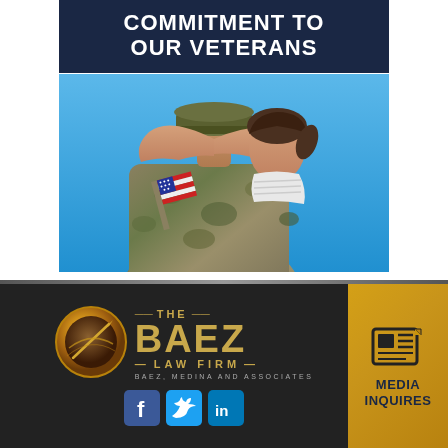COMMITMENT TO OUR VETERANS
[Figure (photo): A soldier in military camouflage uniform being hugged from behind by a child holding a small American flag, blue sky background]
[Figure (logo): The Baez Law Firm logo — gold circular emblem with a pen/quill, beside bold gold text reading THE BAEZ LAW FIRM, BAEZ MEDINA AND ASSOCIATES]
[Figure (infographic): Social media icons: Facebook (blue), Twitter (cyan/blue), LinkedIn (blue)]
[Figure (infographic): Gold media inquires box with newspaper icon and text MEDIA INQUIRES]